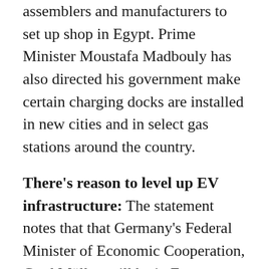assemblers and manufacturers to set up shop in Egypt. Prime Minister Moustafa Madbouly has also directed his government make certain charging docks are installed in new cities and in select gas stations around the country.
There's reason to level up EV infrastructure: The statement notes that that Germany's Federal Minister of Economic Cooperation, Gerd Müller, will be in Egypt soon with a delegation that includes a team from Mercedes-Benz. The carmaker expressed interest in assembling EVs in Egypt during a meeting held last month between El Sisi and senior Mercedes-Benz global exec Markus Schaefer. The company also announced last week its likely return to passenger car